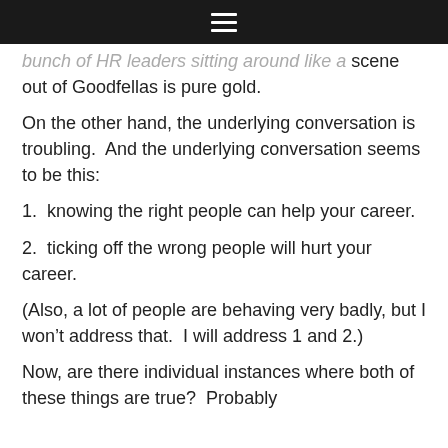☰
…bunch of HR leaders sitting around like a scene out of Goodfellas is pure gold.
On the other hand, the underlying conversation is troubling.  And the underlying conversation seems to be this:
1.  knowing the right people can help your career.
2.  ticking off the wrong people will hurt your career.
(Also, a lot of people are behaving very badly, but I won't address that.  I will address 1 and 2.)
Now, are there individual instances where both of these things are true?  Probably